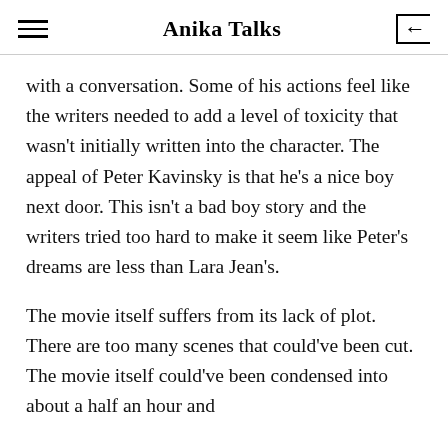Anika Talks
with a conversation. Some of his actions feel like the writers needed to add a level of toxicity that wasn't initially written into the character. The appeal of Peter Kavinsky is that he's a nice boy next door. This isn't a bad boy story and the writers tried too hard to make it seem like Peter's dreams are less than Lara Jean's.
The movie itself suffers from its lack of plot. There are too many scenes that could've been cut. The movie itself could've been condensed into about a half an hour and